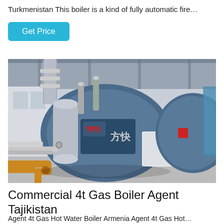Turkmenistan This boiler is a kind of fully automatic fire…
Get Price
[Figure (photo): Industrial gas boilers in a factory/warehouse setting. Two large blue cylindrical boilers with Chinese characters (方快) visible, connected with silver insulated pipes, orange/yellow gas supply pipe at the bottom left, and a white control cabinet on the right with the number 2 on it.]
Commercial 4t Gas Boiler Agent Tajikistan
Agent 4t Gas Hot Water Boiler Armenia Agent 4t Gas Hot…